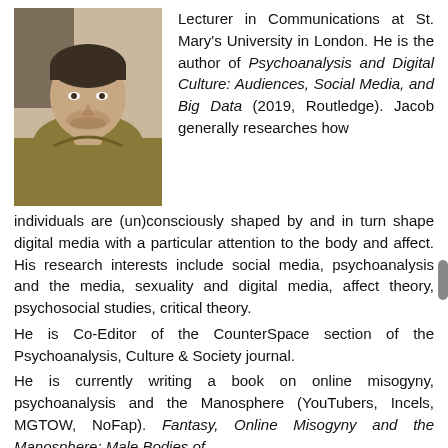[Figure (photo): Portrait photo of a young man with short dark hair wearing an olive/mustard shirt, photographed from shoulders up against an indoor background.]
Lecturer in Communications at St. Mary's University in London. He is the author of Psychoanalysis and Digital Culture: Audiences, Social Media, and Big Data (2019, Routledge). Jacob generally researches how individuals are (un)consciously shaped by and in turn shape digital media with a particular attention to the body and affect. His research interests include social media, psychoanalysis and the media, sexuality and digital media, affect theory, psychosocial studies, critical theory.
He is Co-Editor of the CounterSpace section of the Psychoanalysis, Culture & Society journal.
He is currently writing a book on online misogyny, psychoanalysis and the Manosphere (YouTubers, Incels, MGTOW, NoFap). Fantasy, Online Misogyny and the Manosphere: Male Bodies of